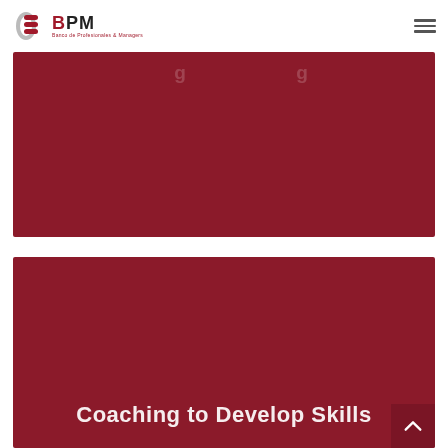BPM - Banco de Profesionales & Managers
[Figure (other): Dark red/maroon banner card, partially visible title text at top]
[Figure (other): Dark red/maroon banner card with title 'Coaching to Develop Skills' at bottom]